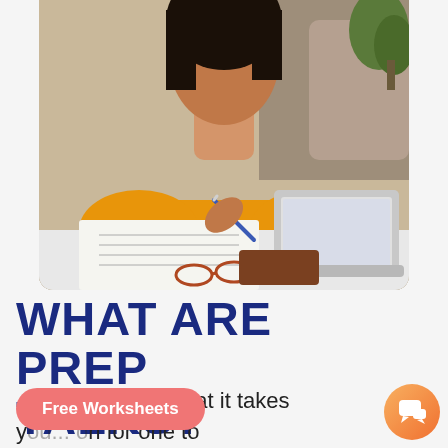[Figure (photo): Young woman in yellow/orange t-shirt writing in notebook at a desk with a laptop open beside her, glasses on the desk. Top portion cropped showing desk study scene.]
WHAT ARE PREP TALKS?
Free Worksheets
at it takes you... n for one to be qualified and prepared for a